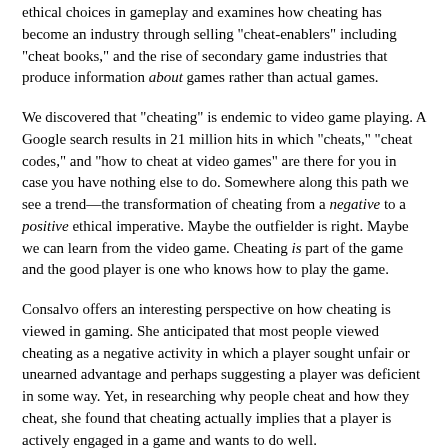ethical choices in gameplay and examines how cheating has become an industry through selling "cheat-enablers" including "cheat books," and the rise of secondary game industries that produce information about games rather than actual games.
We discovered that "cheating" is endemic to video game playing. A Google search results in 21 million hits in which "cheats," "cheat codes," and "how to cheat at video games" are there for you in case you have nothing else to do. Somewhere along this path we see a trend—the transformation of cheating from a negative to a positive ethical imperative. Maybe the outfielder is right. Maybe we can learn from the video game. Cheating is part of the game and the good player is one who knows how to play the game.
Consalvo offers an interesting perspective on how cheating is viewed in gaming. She anticipated that most people viewed cheating as a negative activity in which a player sought unfair or unearned advantage and perhaps suggesting a player was deficient in some way. Yet, in researching why people cheat and how they cheat, she found that cheating actually implies that a player is actively engaged in a game and wants to do well.
Steven J. Dubner, the co-author of Freakonomics, has posited that cheating is actually good for sports. In exploring the "hidden side of